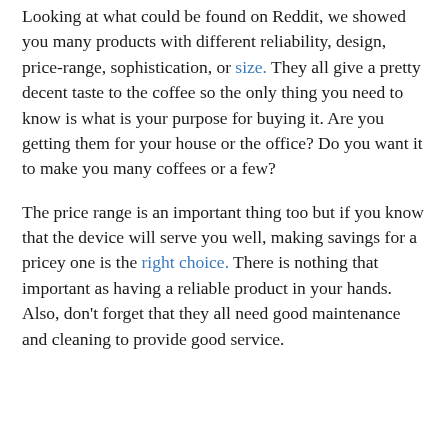Looking at what could be found on Reddit, we showed you many products with different reliability, design, price-range, sophistication, or size. They all give a pretty decent taste to the coffee so the only thing you need to know is what is your purpose for buying it. Are you getting them for your house or the office? Do you want it to make you many coffees or a few?
The price range is an important thing too but if you know that the device will serve you well, making savings for a pricey one is the right choice. There is nothing that important as having a reliable product in your hands. Also, don't forget that they all need good maintenance and cleaning to provide good service.